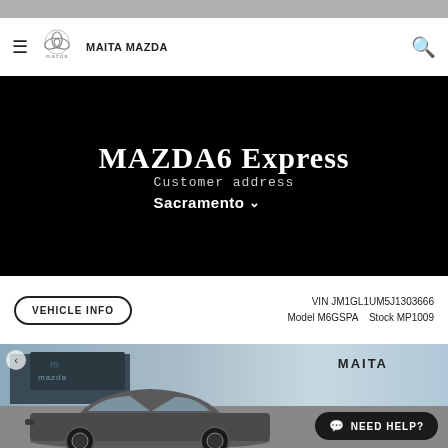MAITA MAZDA
MAZDA6 Express
Customer address
Sacramento
VEHICLE INFO  VIN JM1GL1UM5J1303666  Model M6GSPA  Stock MP1009
[Figure (photo): Exterior photo of a Mazda6 sedan parked at Maita Mazda dealership. A dark-colored sedan is visible in front of the dealership building with Mazda and Maita signage. A 'NEED HELP?' chat button appears in the lower right corner.]